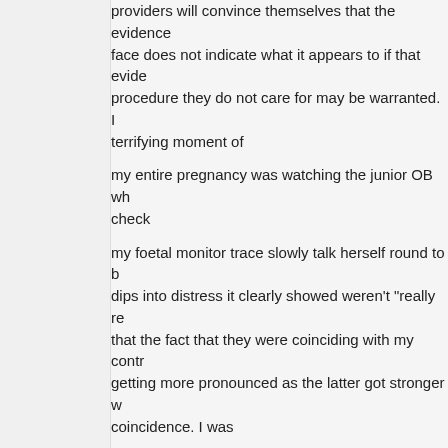providers will convince themselves that the evidence on face does not indicate what it appears to if that evidence procedure they do not care for may be warranted. I terrifying moment of my entire pregnancy was watching the junior OB wh check my foetal monitor trace slowly talk herself round to b dips into distress it clearly showed weren't "really re that the fact that they were coinciding with my contr getting more pronounced as the latter got stronger w coincidence. I was later told by the surgeon who did my caesarean that her and insisted on the operation my baby would probably have died or been brain inj least so I also read this horrible story with a "there b of God" shudder.
Poor Landon – dead because the medical professio who should have had his best interests as their first ultimately had him coming a poor second to the cult breastmilk.